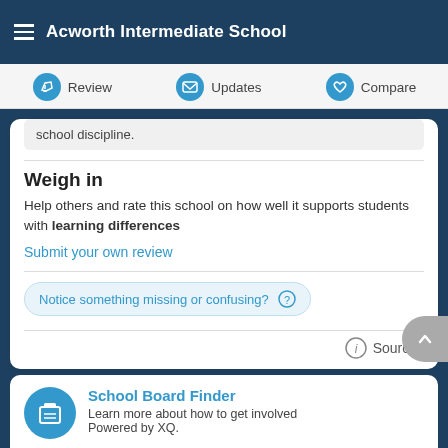Acworth Intermediate School
Review  Updates  Compare
school discipline.
Weigh in
Help others and rate this school on how well it supports students with learning differences
Submit your own review
Notice something missing or confusing? ?
Sources
School Board Finder
Learn more about how to get involved
Powered by XQ.